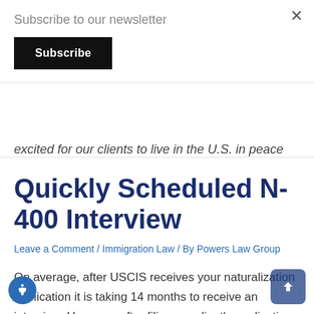Subscribe to our newsletter
Subscribe
excited for our clients to live in the U.S. in peace
Quickly Scheduled N-400 Interview
Leave a Comment / Immigration Law / By Powers Law Group
On average, after USCIS receives your naturalization application it is taking 14 months to receive an interview. However, after filing our client's application, our client was scheduled for a naturalization interview approximately a month later.